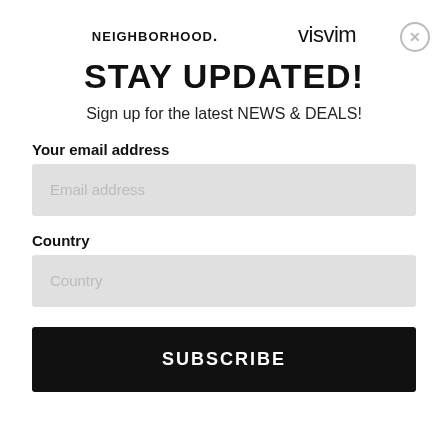[Figure (logo): NEIGHBORHOOD. and visvim logos side by side]
STAY UPDATED!
Sign up for the latest NEWS & DEALS!
Your email address
Email address
Country
Country
SUBSCRIBE